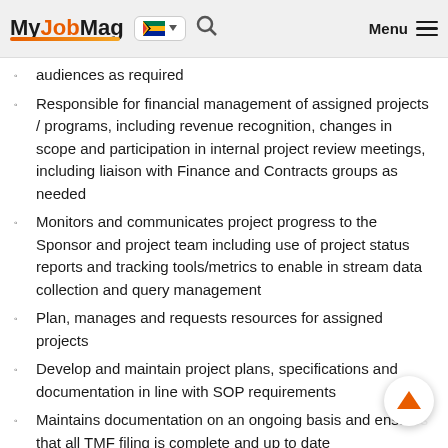MyJobMag [South Africa flag] [search] Menu
audiences as required
Responsible for financial management of assigned projects / programs, including revenue recognition, changes in scope and participation in internal project review meetings, including liaison with Finance and Contracts groups as needed
Monitors and communicates project progress to the Sponsor and project team including use of project status reports and tracking tools/metrics to enable in stream data collection and query management
Plan, manages and requests resources for assigned projects
Develop and maintain project plans, specifications and documentation in line with SOP requirements
Maintains documentation on an ongoing basis and ensures that all TMF filing is complete and up to date
Participates in, and presents at internal, Sponsor, third-party,